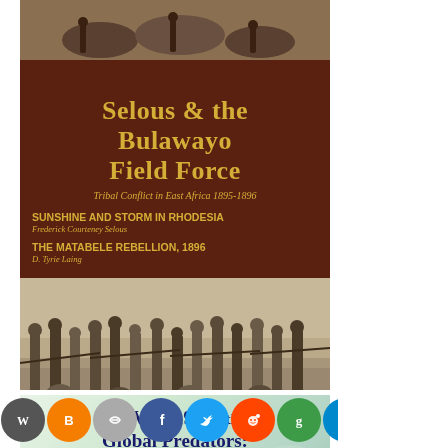[Figure (illustration): Book cover: Selous & The Bulawayo Field Force - Tribal Conflict in East Africa 1895-1896, with historical photo of soldiers and dark red background]
[Figure (illustration): Book cover: COVID-19 and the Global Predators: We Are the Prey, with introductions by leading COVID-19 physicians, light green background]
[Figure (infographic): Social media sharing icon bar at the bottom: WordPress, Blogger, Link, Facebook, Twitter, Reddit, Goodreads, Telegram, Instagram, Pixelfed, Print, Share icons]